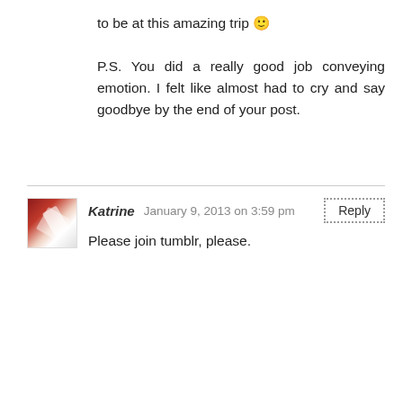to be at this amazing trip 🙂

P.S. You did a really good job conveying emotion. I felt like almost had to cry and say goodbye by the end of your post.
Katrine   January 9, 2013 on 3:59 pm
Please join tumblr, please.